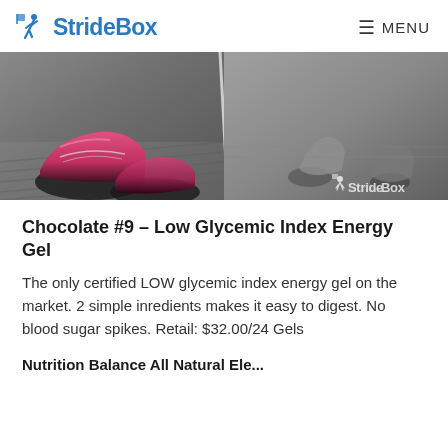StrideBox  MENU
[Figure (photo): Hero image showing runners' feet and shoes on a wet wooden slat surface. Left half shows pink/magenta running shoes close-up. Right half shows runners on a track. StrideBox watermark logo visible in bottom right corner.]
Chocolate #9 – Low Glycemic Index Energy Gel
The only certified LOW glycemic index energy gel on the market. 2 simple inredients makes it easy to digest. No blood sugar spikes. Retail: $32.00/24 Gels
Nutrition Balance All Natural Ele...